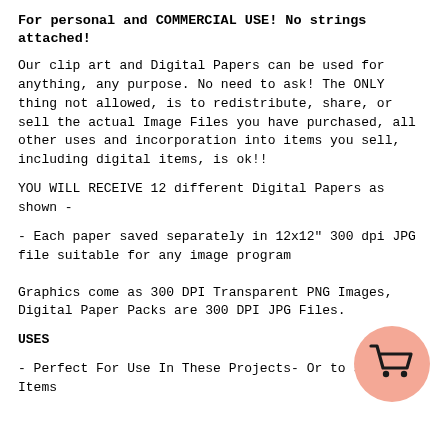For personal and COMMERCIAL USE! No strings attached!
Our clip art and Digital Papers can be used for anything, any purpose. No need to ask! The ONLY thing not allowed, is to redistribute, share, or sell the actual Image Files you have purchased, all other uses and incorporation into items you sell, including digital items, is ok!!
YOU WILL RECEIVE 12 different Digital Papers as shown -
- Each paper saved separately in 12x12" 300 dpi JPG file suitable for any image program
Graphics come as 300 DPI Transparent PNG Images, Digital Paper Packs are 300 DPI JPG Files.
USES
- Perfect For Use In These Projects- Or to sell the Items